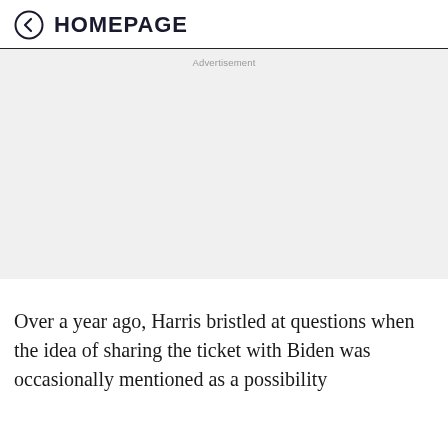HOMEPAGE
[Figure (other): Advertisement placeholder area with light gray background]
Over a year ago, Harris bristled at questions when the idea of sharing the ticket with Biden was occasionally mentioned as a possibility